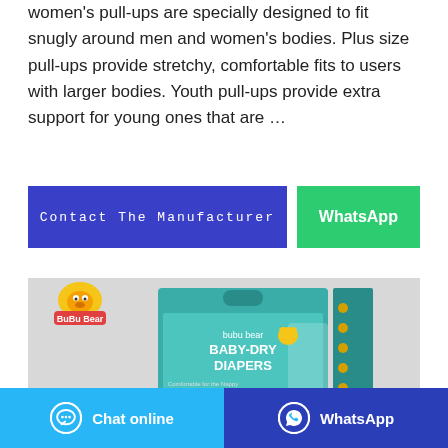women's pull-ups are specially designed to fit snugly around men and women's bodies. Plus size pull-ups provide stretchy, comfortable fits to users with larger bodies. Youth pull-ups provide extra support for young ones that are …
Contact The Manufacturer
WhatsApp
[Figure (photo): Bubu Bear Baby-Dry Diapers product box packaging on light grey background, with BuBu Bear logo in top-left corner]
Chat online
WhatsApp